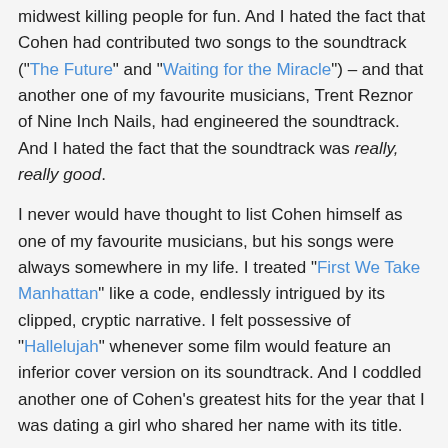midwest killing people for fun. And I hated the fact that Cohen had contributed two songs to the soundtrack ("The Future" and "Waiting for the Miracle") – and that another one of my favourite musicians, Trent Reznor of Nine Inch Nails, had engineered the soundtrack. And I hated the fact that the soundtrack was really, really good.
I never would have thought to list Cohen himself as one of my favourite musicians, but his songs were always somewhere in my life. I treated "First We Take Manhattan" like a code, endlessly intrigued by its clipped, cryptic narrative. I felt possessive of "Hallelujah" whenever some film would feature an inferior cover version on its soundtrack. And I coddled another one of Cohen's greatest hits for the year that I was dating a girl who shared her name with its title.
But more than his songs, it was his poetry. I eagerly bought a first printing copy of Stranger Music, his 1993 anthology, which suggests that I was already a big fan at 18. Certainly, by the time I got married in 2000, I knew his repertoire backwards and forwards, and could select just the right poem to be read at my wedding (it was "You Have the Lovers"). But I had to really reach back to remember which of his poems I would have encountered first.